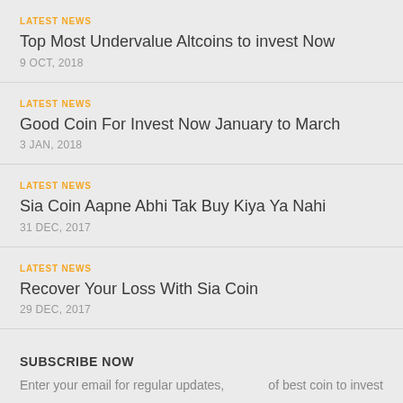LATEST NEWS
Top Most Undervalue Altcoins to invest Now
9 OCT, 2018
LATEST NEWS
Good Coin For Invest Now January to March
3 JAN, 2018
LATEST NEWS
Sia Coin Aapne Abhi Tak Buy Kiya Ya Nahi
31 DEC, 2017
LATEST NEWS
Recover Your Loss With Sia Coin
29 DEC, 2017
SUBSCRIBE NOW
Enter your email for regular updates,    of best coin to invest